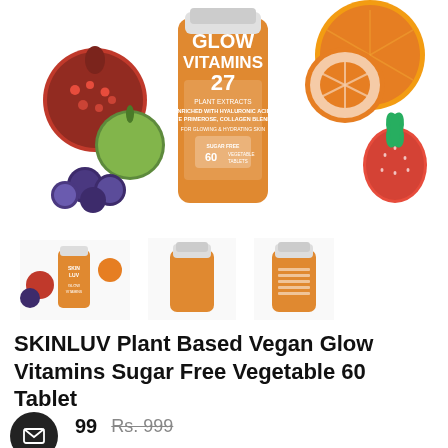[Figure (photo): Product photo of SKINLUV Glow Vitamins orange bottle (27 plant extracts, hyaluronic acid, eve primrose, collagen blends, for glowing & hydrating skin, sugar free, 60 vegetable tablets) surrounded by fruits including pomegranate, apple, blueberries, orange, strawberry]
[Figure (photo): Three product thumbnail images of SKINLUV Glow Vitamins bottle from different angles: front with fruit imagery, plain orange bottle front, and bottle back with supplement facts label]
SKINLUV Plant Based Vegan Glow Vitamins Sugar Free Vegetable 60 Tablet
99  Rs. 999